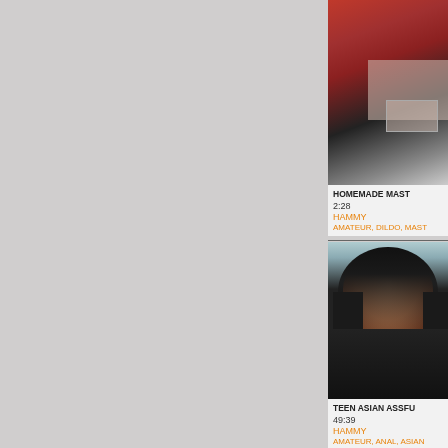[Figure (screenshot): Light grey textured background occupying the left portion of the page]
[Figure (screenshot): Video thumbnail showing pink/maroon fabric with a light colored surface]
HOMEMADE MAST...
2:28
HAMMY
AMATEUR, DILDO, MAST...
[Figure (screenshot): Video thumbnail showing a dark-skinned young woman with long black hair]
TEEN ASIAN ASSFU...
49:39
HAMMY
AMATEUR, ANAL, ASIAN...